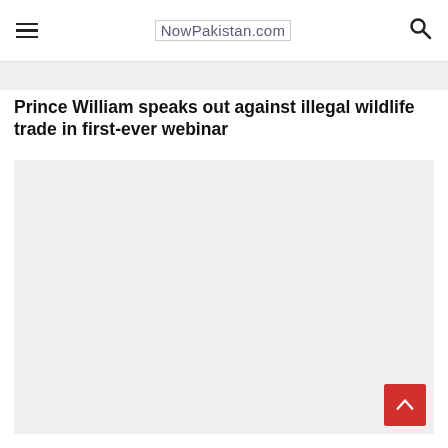NowPakistan.com
[Figure (other): Light gray placeholder image bar at top]
Prince William speaks out against illegal wildlife trade in first-ever webinar
[Figure (photo): Large light gray placeholder image area for article photo]